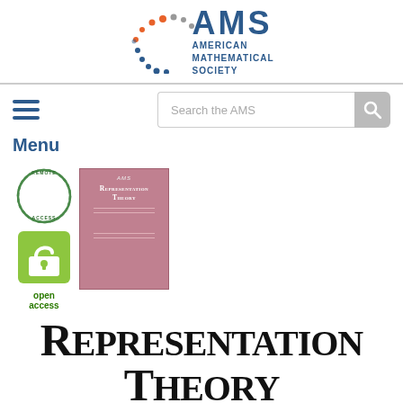[Figure (logo): AMS (American Mathematical Society) logo with colorful dot arc and blue text]
Search the AMS
Menu
[Figure (logo): Remote Access badge - circular badge with globe icon]
[Figure (logo): Open Access badge - green lock icon with 'open access' text]
[Figure (illustration): Cover of Representation Theory journal - pink/mauve colored book cover]
Representation Theory
An Electronic Journal of the AMS